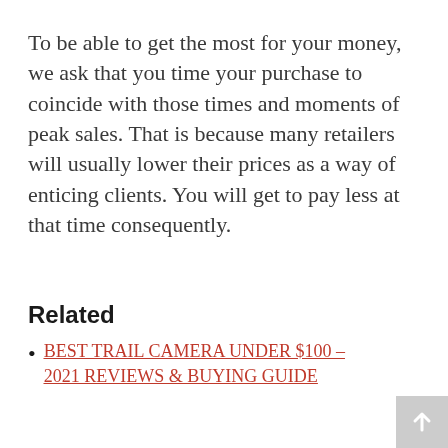To be able to get the most for your money, we ask that you time your purchase to coincide with those times and moments of peak sales. That is because many retailers will usually lower their prices as a way of enticing clients. You will get to pay less at that time consequently.
Related
BEST TRAIL CAMERA UNDER $100 – 2021 REVIEWS & BUYING GUIDE